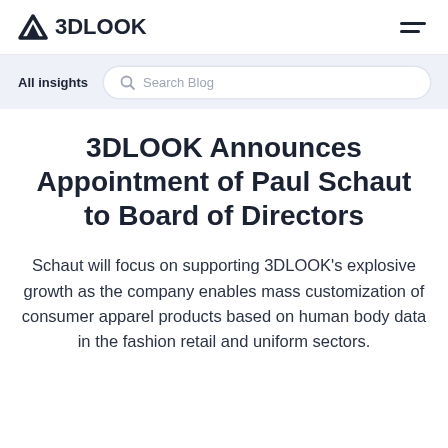3DLOOK
All insights
3DLOOK Announces Appointment of Paul Schaut to Board of Directors
Schaut will focus on supporting 3DLOOK's explosive growth as the company enables mass customization of consumer apparel products based on human body data in the fashion retail and uniform sectors.